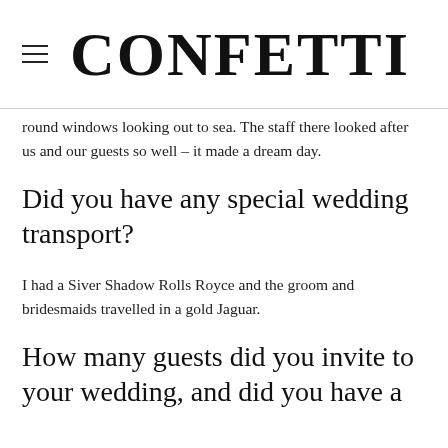CONFETTI
round windows looking out to sea. The staff there looked after us and our guests so well – it made a dream day.
Did you have any special wedding transport?
I had a Siver Shadow Rolls Royce and the groom and bridesmaids travelled in a gold Jaguar.
How many guests did you invite to your wedding, and did you have a